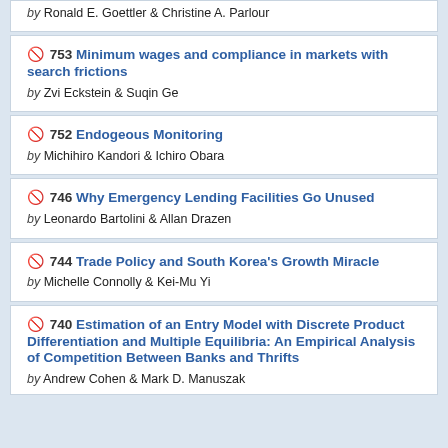753 Minimum wages and compliance in markets with search frictions by Zvi Eckstein & Suqin Ge
752 Endogeous Monitoring by Michihiro Kandori & Ichiro Obara
746 Why Emergency Lending Facilities Go Unused by Leonardo Bartolini & Allan Drazen
744 Trade Policy and South Korea's Growth Miracle by Michelle Connolly & Kei-Mu Yi
740 Estimation of an Entry Model with Discrete Product Differentiation and Multiple Equilibria: An Empirical Analysis of Competition Between Banks and Thrifts by Andrew Cohen & Mark D. Manuszak